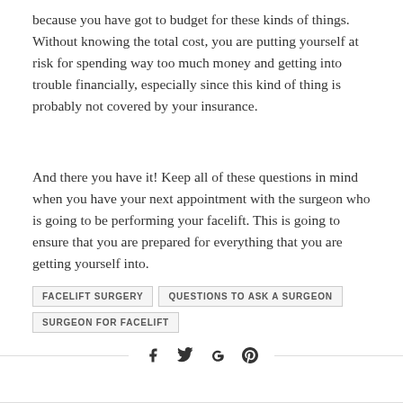because you have got to budget for these kinds of things. Without knowing the total cost, you are putting yourself at risk for spending way too much money and getting into trouble financially, especially since this kind of thing is probably not covered by your insurance.
And there you have it! Keep all of these questions in mind when you have your next appointment with the surgeon who is going to be performing your facelift. This is going to ensure that you are prepared for everything that you are getting yourself into.
FACELIFT SURGERY
QUESTIONS TO ASK A SURGEON
SURGEON FOR FACELIFT
[Figure (other): Social share icons: Facebook, Twitter, Google+, Pinterest]